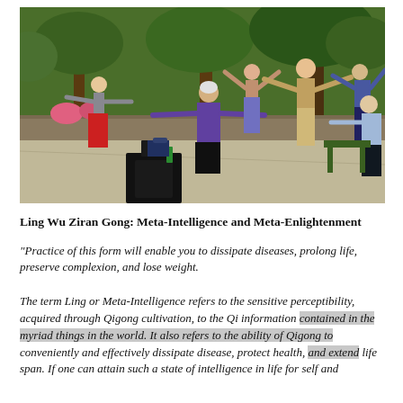[Figure (photo): Outdoor Qigong class with instructor and several participants performing a movement with arms outstretched, in a garden or courtyard setting with trees and flowers in the background.]
Ling Wu Ziran Gong: Meta-Intelligence and Meta-Enlightenment
“Practice of this form will enable you to dissipate diseases, prolong life, preserve complexion, and lose weight.
The term Ling or Meta-Intelligence refers to the sensitive perceptibility, acquired through Qigong cultivation, to the Qi information contained in the myriad things in the world. It also refers to the ability of Qigong to conveniently and effectively dissipate disease, protect health, and extend life span. If one can attain such a state of intelligence in life for self and